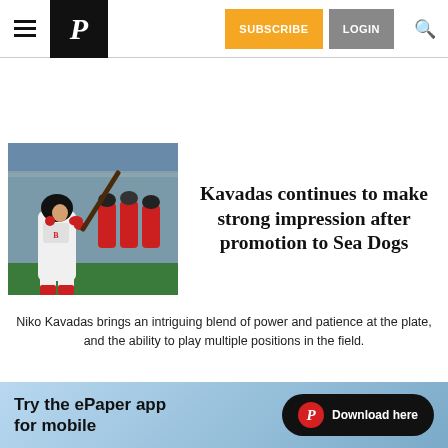P [logo] | SUBSCRIBE | LOGIN | [search]
[Figure (photo): Baseball player in white uniform holding a bat in batting stance, with teammates visible in dugout behind him, outdoor baseball stadium setting]
Kavadas continues to make strong impression after promotion to Sea Dogs
Niko Kavadas brings an intriguing blend of power and patience at the plate, and the ability to play multiple positions in the field.
[Figure (other): Advertisement banner: Try the ePaper app for mobile — Download here, with newspaper logo badge]